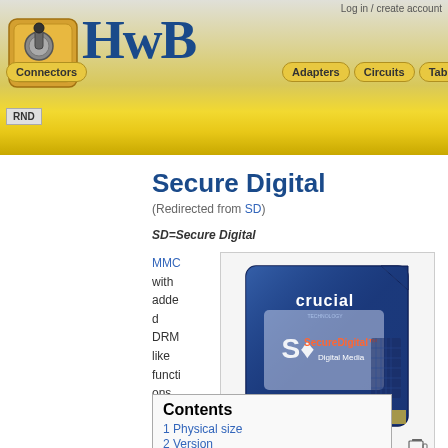HwB — Hardware Book — Log in / create account — Connectors, Adapters, Circuits, Tables, RND
Secure Digital
(Redirected from SD)
SD=Secure Digital
MMC with added DRM like functions.
[Figure (photo): Photo of a Crucial brand SD (Secure Digital) memory card with blue design, labeled 'crucial' at top and 'SD SecureDigital Digital Media' in center]
SD card
Contents
1 Physical size
2 Version